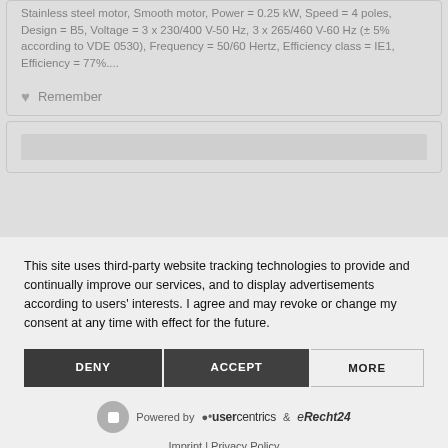Stainless steel motor, Smooth motor, Power = 0.25 kW, Speed = 4 poles, Design = B5, Voltage = 3 x 230/400 V-50 Hz, 3 x 265/460 V-60 Hz (± 5% according to VDE 0530), Frequency = 50/60 Hertz, Efficiency class = IE1, Efficiency = 77%....
♥ Remember
This site uses third-party website tracking technologies to provide and continually improve our services, and to display advertisements according to users' interests. I agree and may revoke or change my consent at any time with effect for the future.
DENY
ACCEPT
MORE
Powered by usercentrics & eRecht24
Imprint | Privacy Policy